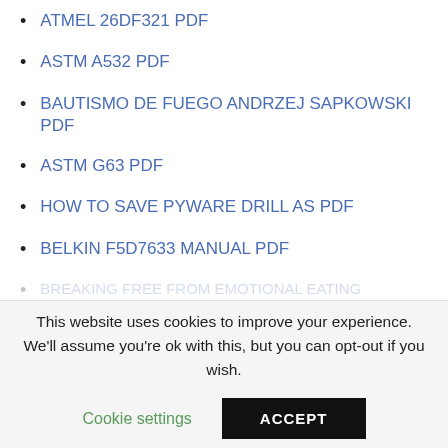ATMEL 26DF321 PDF
ASTM A532 PDF
BAUTISMO DE FUEGO ANDRZEJ SAPKOWSKI PDF
ASTM G63 PDF
HOW TO SAVE PYWARE DRILL AS PDF
BELKIN F5D7633 MANUAL PDF
BREAKING FREE FROM EMOTIONAL EATING
This website uses cookies to improve your experience. We'll assume you're ok with this, but you can opt-out if you wish.
Cookie settings
ACCEPT